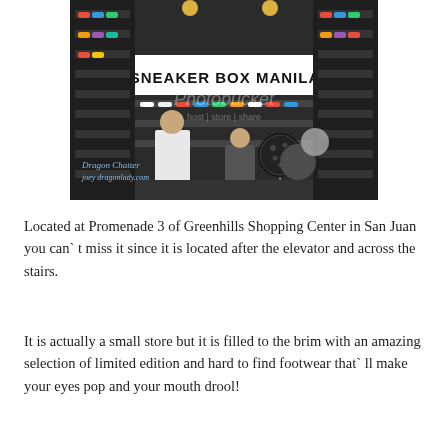[Figure (photo): Interior of Sneaker Box Manila store at Greenhills Shopping Center. The store has walls lined with colorful sneakers on display shelves. A large sign reads 'SNEAKER BOX MANILA'. There are black polka-dot balloons and a silver balloon near a counter. A man in a grey shirt stands behind the counter. A woman in a white top is visible in the foreground. A Photobucket watermark is overlaid on the image. A watermark reads 'Dragon Chatter joey dragonlady.com' in the lower left.]
Located at Promenade 3 of Greenhills Shopping Center in San Juan you can`t miss it since it is located after the elevator and across the stairs.
It is actually a small store but it is filled to the brim with an amazing selection of limited edition and hard to find footwear that`ll make your eyes pop and your mouth drool!